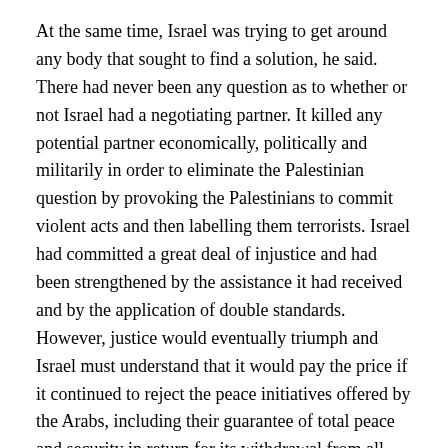At the same time, Israel was trying to get around any body that sought to find a solution, he said. There had never been any question as to whether or not Israel had a negotiating partner. It killed any potential partner economically, politically and militarily in order to eliminate the Palestinian question by provoking the Palestinians to commit violent acts and then labelling them terrorists. Israel had committed a great deal of injustice and had been strengthened by the assistance it had received and by the application of double standards. However, justice would eventually triumph and Israel must understand that it would pay the price if it continued to reject the peace initiatives offered by the Arabs, including their guarantee of total peace and security in return for its withdrawal from all Arab lands occupied since 1967, the establishment of an independent Palestinian State with Jerusalem as its capital and the return of Palestine refugees.
RODRIGO MALMIERCA DIAZ ( Cuba) said that, once again, history was repeating itself. The international